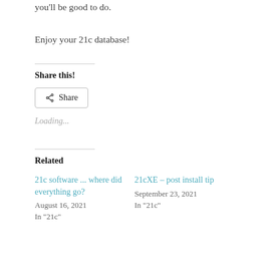Simply exit the installer, grab a fresh terminal session and you'll be good to do.
Enjoy your 21c database!
Share this!
Loading...
Related
21c software ... where did everything go?
August 16, 2021
In "21c"
21cXE – post install tip
September 23, 2021
In "21c"